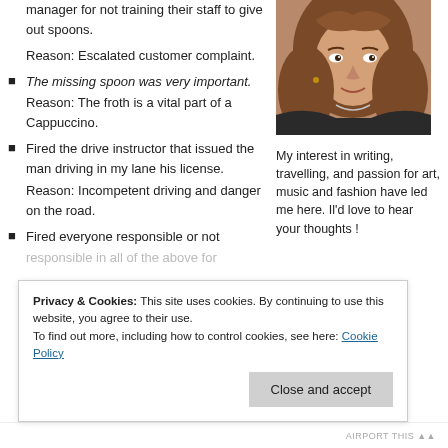manager for not training their staff to give out spoons.
Reason: Escalated customer complaint.
The missing spoon was very important. Reason: The froth is a vital part of a Cappuccino.
Fired the drive instructor that issued the man driving in my lane his license.
Reason: Incompetent driving and danger on the road.
Fired everyone responsible or not responsible in all of the above for…
[Figure (photo): Portrait photo of a woman with long wavy brown hair]
My interest in writing, travelling, and passion for art, music and fashion have led me here. Il'd love to hear your thoughts !
Privacy & Cookies: This site uses cookies. By continuing to use this website, you agree to their use.
To find out more, including how to control cookies, see here: Cookie Policy
AIRPORT THIS ▲▲